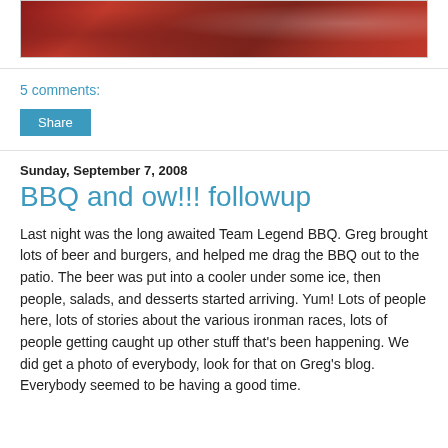[Figure (photo): Close-up photo of red inflamed skin, partially visible at top of page]
5 comments:
Share
Sunday, September 7, 2008
BBQ and ow!!! followup
Last night was the long awaited Team Legend BBQ. Greg brought lots of beer and burgers, and helped me drag the BBQ out to the patio. The beer was put into a cooler under some ice, then people, salads, and desserts started arriving. Yum! Lots of people here, lots of stories about the various ironman races, lots of people getting caught up other stuff that's been happening. We did get a photo of everybody, look for that on Greg's blog. Everybody seemed to be having a good time.